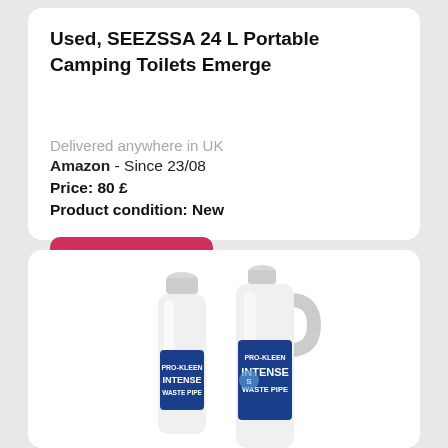Used, SEEZSSA 24 L Portable Camping Toilets Emerge
Delivered anywhere in UK
Amazon  - Since 23/08
Price: 80 £
Product condition: New
See details
[Figure (photo): Two white plastic bottles/containers of Pro-Kleen Intense Waste Pipe product, partially visible at bottom of page]